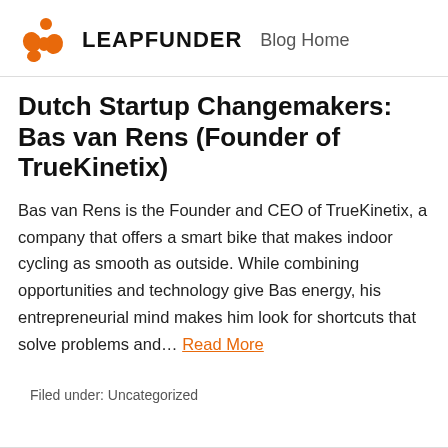LEAPFUNDER  Blog Home
Dutch Startup Changemakers: Bas van Rens (Founder of TrueKinetix)
Bas van Rens is the Founder and CEO of TrueKinetix, a company that offers a smart bike that makes indoor cycling as smooth as outside. While combining opportunities and technology give Bas energy, his entrepreneurial mind makes him look for shortcuts that solve problems and… Read More
Filed under: Uncategorized